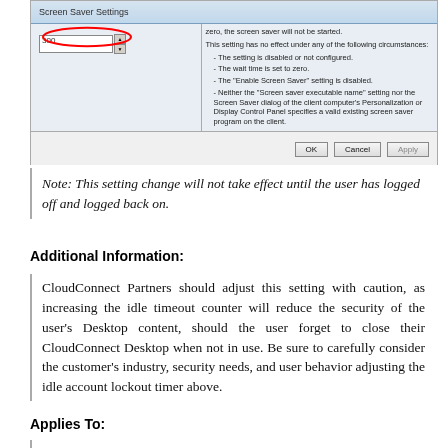[Figure (screenshot): Windows dialog box showing a screen saver settings panel. Left pane has a red oval circling an input field with value '300'. Right pane shows explanatory text about when the setting has no effect. Dialog has OK, Cancel, and Apply buttons at the bottom.]
Note: This setting change will not take effect until the user has logged off and logged back on.
Additional Information:
CloudConnect Partners should adjust this setting with caution, as increasing the idle timeout counter will reduce the security of the user’s Desktop content, should the user forget to close their CloudConnect Desktop when not in use. Be sure to carefully consider the customer’s industry, security needs, and user behavior adjusting the idle account lockout timer above.
Applies To: